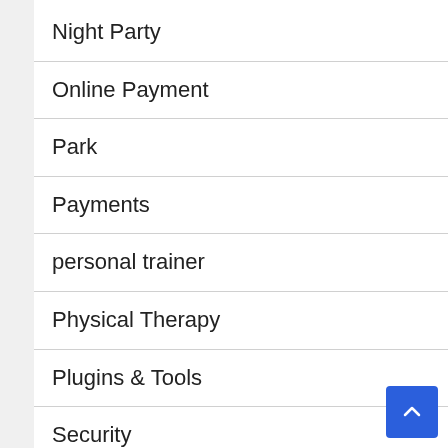Night Party
Online Payment
Park
Payments
personal trainer
Physical Therapy
Plugins & Tools
Security
SEO